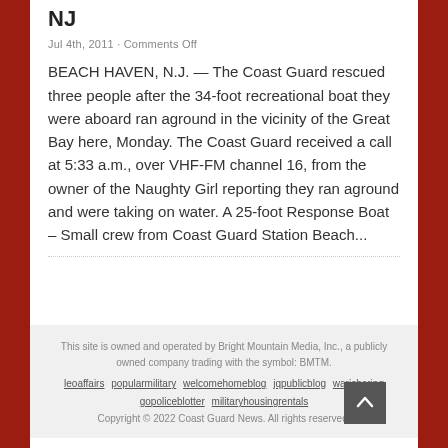NJ
Jul 4th, 2011 · Comments Off
BEACH HAVEN, N.J. — The Coast Guard rescued three people after the 34-foot recreational boat they were aboard ran aground in the vicinity of the Great Bay here, Monday. The Coast Guard received a call at 5:33 a.m., over VHF-FM channel 16, from the owner of the Naughty Girl reporting they ran aground and were taking on water. A 25-foot Response Boat – Small crew from Coast Guard Station Beach...
This site is owned and operated by Bright Mountain Media, Inc., a publicly owned company trading with the symbol: BMTM.
leoaffairs popularmilitary welcomehomeblog jqpublicblog warisboring
gopoliceblotter militaryhousingrentals
Copyright © 2022 Coast Guard News. All rights reserved.